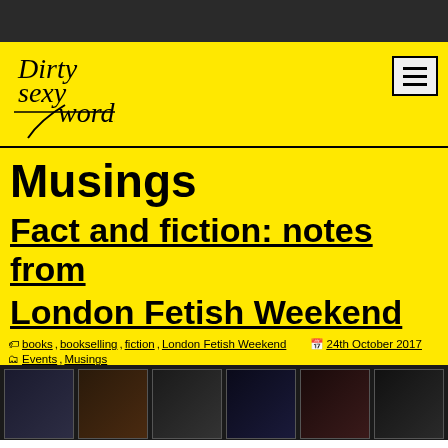Dirty Sexy Words
Musings
Fact and fiction: notes from London Fetish Weekend
books, bookselling, fiction, London Fetish Weekend · 24th October 2017 · Events, Musings
[Figure (photo): A photo strip showing book covers at what appears to be a bookselling event at London Fetish Weekend, dark background with several book spines visible]